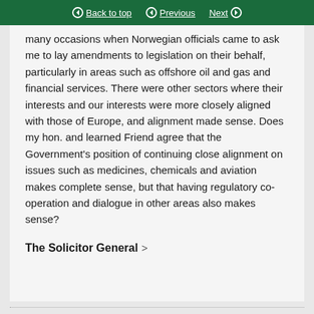Back to top | Previous | Next
many occasions when Norwegian officials came to ask me to lay amendments to legislation on their behalf, particularly in areas such as offshore oil and gas and financial services. There were other sectors where their interests and our interests were more closely aligned with those of Europe, and alignment made sense. Does my hon. and learned Friend agree that the Government's position of continuing close alignment on issues such as medicines, chemicals and aviation makes complete sense, but that having regulatory co-operation and dialogue in other areas also makes sense?
The Solicitor General >